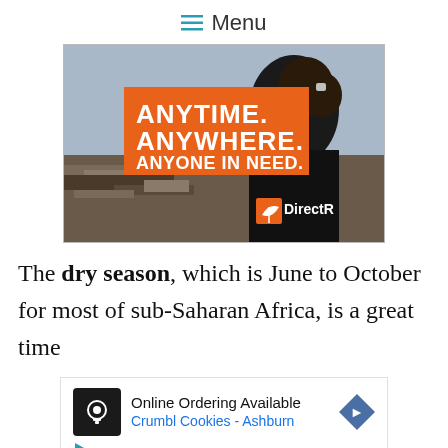Menu
[Figure (photo): Photo of a person wearing a black Direct Relief jacket, standing in front of disaster debris. Orange banner overlay reads 'ANYTIME. ANYWHERE. ANYONE IN NEED.' with a Direct Relief logo visible on the jacket.]
The dry season, which is June to October for most of sub-Saharan Africa, is a great time
[Figure (infographic): Advertisement banner for Crumbl Cookies - Ashburn with 'Online Ordering Available' text and navigation arrow icon.]